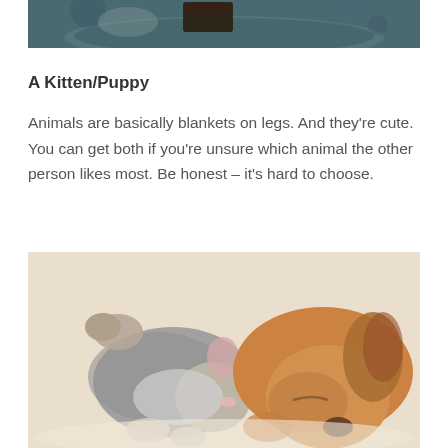[Figure (photo): Top portion of a photo showing a dark chocolate gift box on a plate with dark teal/grey background, partially cropped]
A Kitten/Puppy
Animals are basically blankets on legs. And they're cute. You can get both if you're unsure which animal the other person likes most. Be honest – it's hard to choose.
[Figure (photo): A sleeping grey tabby kitten cuddled up with a sleeping golden/brown puppy on a white soft surface, both with eyes closed peacefully]